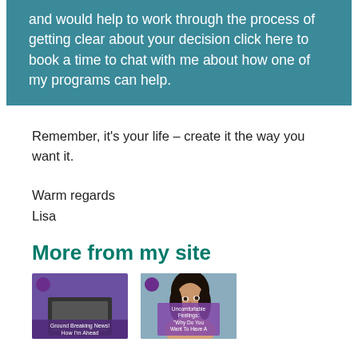and would help to work through the process of getting clear about your decision click here to book a time to chat with me about how one of my programs can help.
Remember, it's your life – create it the way you want it.
Warm regards
Lisa
More from my site
[Figure (photo): Book or promotional image with purple background, laptop, and text overlay reading 'Ground Breaking News! How I'm Ahead']
[Figure (photo): Woman with dark hair looking sideways with text overlay on purple background reading 'Uncomfortable Feelings: Why Do You Want To Have A']